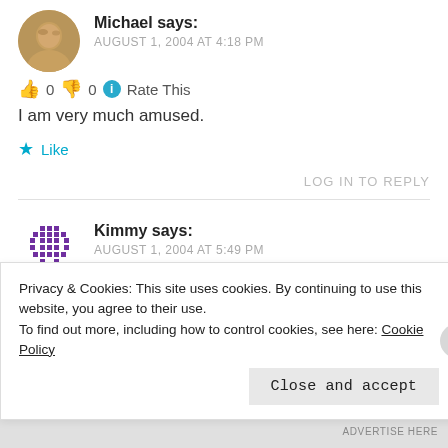Michael says: AUGUST 1, 2004 AT 4:18 PM
👍 0 👎 0 ℹ Rate This
I am very much amused.
★ Like
LOG IN TO REPLY
Kimmy says: AUGUST 1, 2004 AT 5:49 PM
Privacy & Cookies: This site uses cookies. By continuing to use this website, you agree to their use. To find out more, including how to control cookies, see here: Cookie Policy
Close and accept